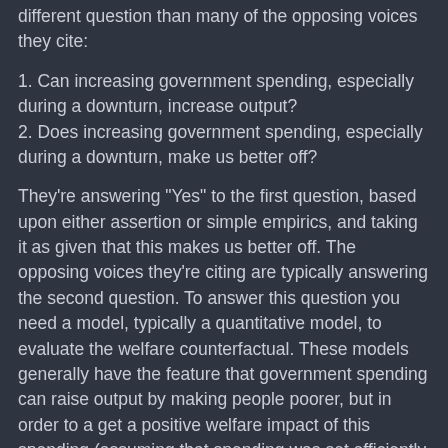different question than many of the opposing voices they cite:
1. Can increasing government spending, especially during a downturn, increase output?
2. Does increasing government spending, especially during a downturn, make us better off?
They're answering "Yes" to the first question, based upon either assertion or simple empirics, and taking it as given that this makes us better off. The opposing voices they're citing are typically answering the second question. To answer this question you need a model, typically a quantitative model, to evaluate the welfare counterfactual. These models generally have the feature that government spending can raise output by making people poorer, but in order to a get a positive welfare impact of this spending (assuming that spending was set efficiently without the downturn and hence the marginal production of government spending is at least at its cost), you require one of the following: